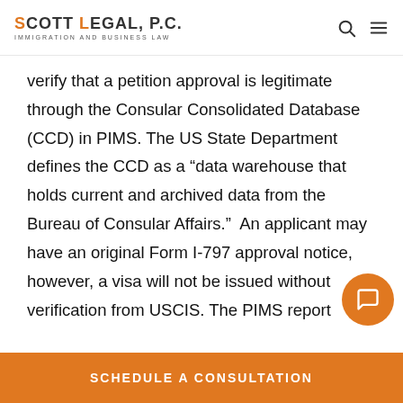SCOTT LEGAL, P.C. IMMIGRATION AND BUSINESS LAW
verify that a petition approval is legitimate through the Consular Consolidated Database (CCD) in PIMS. The US State Department defines the CCD as a “data warehouse that holds current and archived data from the Bureau of Consular Affairs.”  An applicant may have an original Form I-797 approval notice, however, a visa will not be issued without verification from USCIS. The PIMS report allows consular officers to quickly and easily access and verify the USCIS petition...
SCHEDULE A CONSULTATION